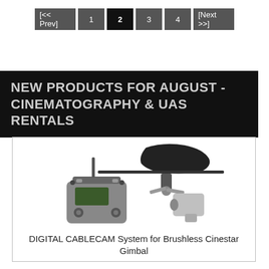[<< Prev]  1  2  3  4  [Next >>]
NEW PRODUCTS FOR AUGUST - CINEMATOGRAPHY & UAS RENTALS
[Figure (photo): Product photo of DIGITAL CABLECAM System showing a remote controller and a brushless gimbal mount with camera attachment, set against white background inside a bordered card.]
DIGITAL CABLECAM System for Brushless Cinestar Gimbal